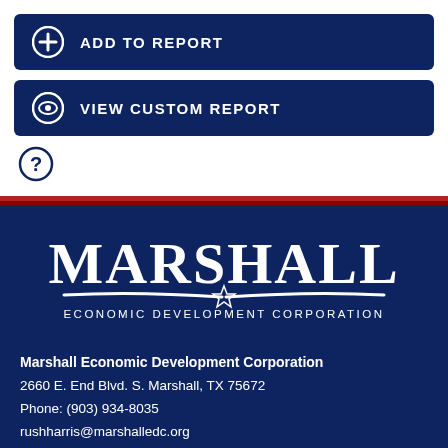[Figure (other): Add to Report button — dark navy rounded rectangle with plus circle icon and text ADD TO REPORT in white uppercase]
[Figure (other): View Custom Report button — dark navy rounded rectangle with eye icon and text VIEW CUSTOM REPORT in white uppercase]
[Figure (other): Question mark circle icon]
[Figure (logo): Marshall Economic Development Corporation logo — large white serif MARSHALL text with decorative underline and star, subtitle ECONOMIC DEVELOPMENT CORPORATION in spaced caps]
Marshall Economic Development Corporation
2660 E. End Blvd. S. Marshall, TX 75672
Phone: (903) 934-8035
rushharris@marshalledc.org